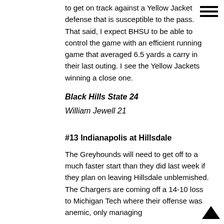to get on track against a Yellow Jacket defense that is susceptible to the pass.  That said, I expect BHSU to be able to control the game with an efficient running game that averaged 6.5 yards a carry in their last outing.  I see the Yellow Jackets winning a close one.
Black Hills State 24
William Jewell 21
#13 Indianapolis at Hillsdale
The Greyhounds will need to get off to a much faster start than they did last week if they plan on leaving Hillsdale unblemished.  The Chargers are coming off a 14-10 loss to Michigan Tech where their offense was anemic, only managing